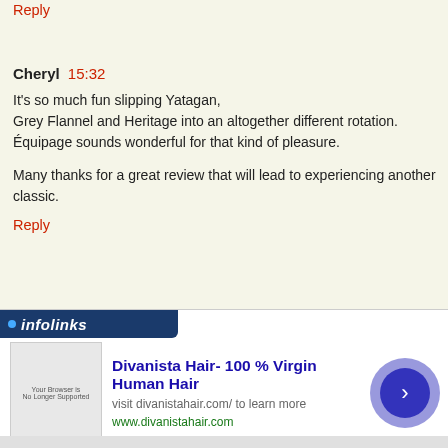Reply
Cheryl  15:32
It's so much fun slipping Yatagan,
Grey Flannel and Heritage into an altogether different rotation.
Équipage sounds wonderful for that kind of pleasure.

Many thanks for a great review that will lead to experiencing another
classic.
Reply
[Figure (infographic): Infolinks advertisement banner for Divanista Hair - 100% Virgin Human Hair, with close button, thumbnail image, ad text, and arrow navigation button]